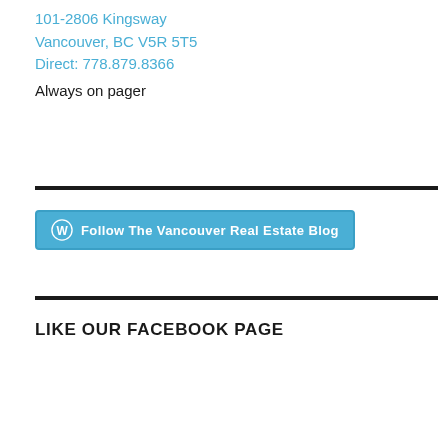101-2806 Kingsway
Vancouver, BC V5R 5T5
Direct: 778.879.8366
Always on pager
[Figure (other): Follow The Vancouver Real Estate Blog button with WordPress icon]
LIKE OUR FACEBOOK PAGE